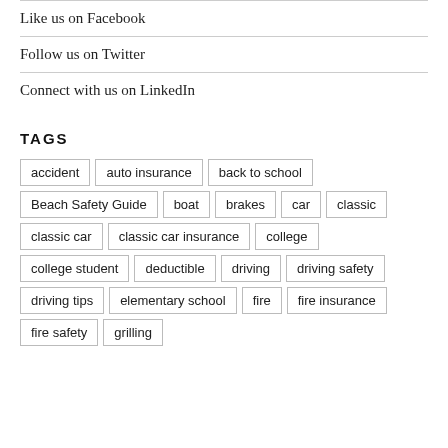Like us on Facebook
Follow us on Twitter
Connect with us on LinkedIn
TAGS
accident
auto insurance
back to school
Beach Safety Guide
boat
brakes
car
classic
classic car
classic car insurance
college
college student
deductible
driving
driving safety
driving tips
elementary school
fire
fire insurance
fire safety
grilling